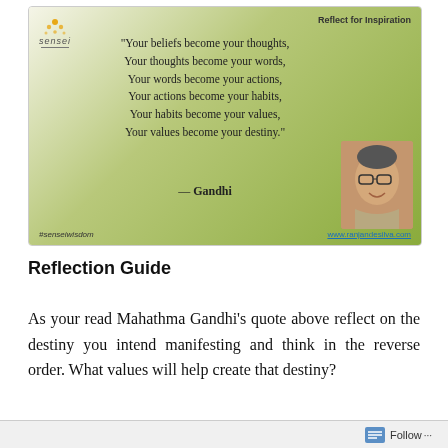[Figure (infographic): Inspirational quote card with green gradient background. Shows a 'Reflect for Inspiration' header, Sensei logo top-left, Gandhi quote in center, photo of a smiling man bottom-right, hashtag #senseiwisdom and website www.ranjandesilva.com at bottom.]
Reflection Guide
As your read Mahathma Gandhi's quote above reflect on the destiny you intend manifesting and think in the reverse order. What values will help create that destiny?